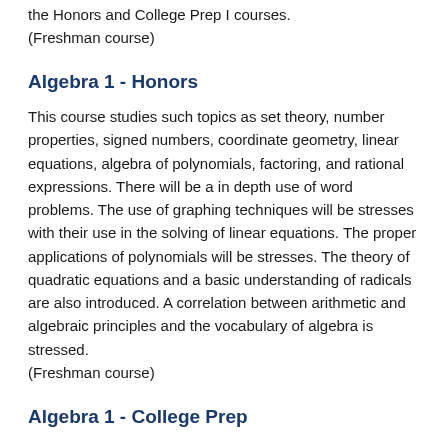the Honors and College Prep I courses.
(Freshman course)
Algebra 1 - Honors
This course studies such topics as set theory, number properties, signed numbers, coordinate geometry, linear equations, algebra of polynomials, factoring, and rational expressions. There will be a in depth use of word problems. The use of graphing techniques will be stresses with their use in the solving of linear equations. The proper applications of polynomials will be stresses. The theory of quadratic equations and a basic understanding of radicals are also introduced. A correlation between arithmetic and algebraic principles and the vocabulary of algebra is stressed.
(Freshman course)
Algebra 1 - College Prep